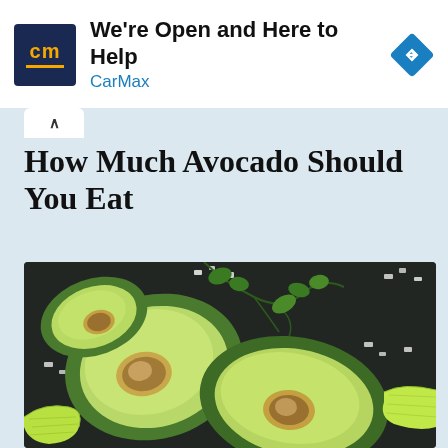[Figure (other): CarMax advertisement banner with logo, headline 'We're Open and Here to Help', sponsor name 'CarMax', and navigation arrow icon]
How Much Avocado Should You Eat
[Figure (photo): Overhead photo of sliced avocado halves on a dark background with fresh parsley, lime wedges, and coarse sea salt scattered around]